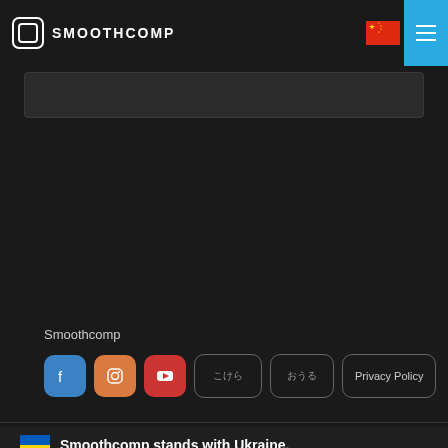SMOOTHCOMP
[Figure (screenshot): Smoothcomp website header with logo, Chinese flag icon, and blue hamburger menu button]
Smoothcomp
[Figure (screenshot): Social media buttons: Facebook (blue), Instagram (orange), YouTube (red), and outline buttons for Japanese text links and Privacy Policy]
Smoothcomp stands with Ukraine. Our platform is meant to unite the world in peaceful competitions. Help stop the unprovoked war »